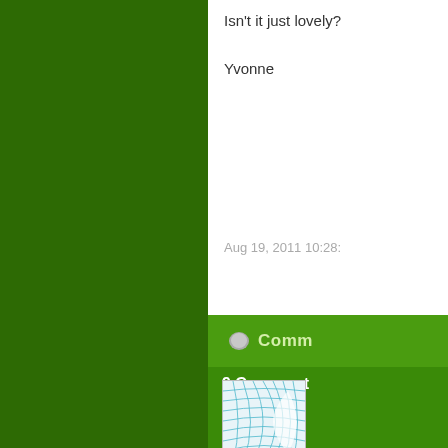Isn't it just lovely?
Yvonne
Aug 19, 2011 10:28:
Comm
9 Comment
[Figure (photo): Thumbnail image showing a blue/teal curved grid pattern on white background]
Dea gre Tod my us of s Her exc I fo Na